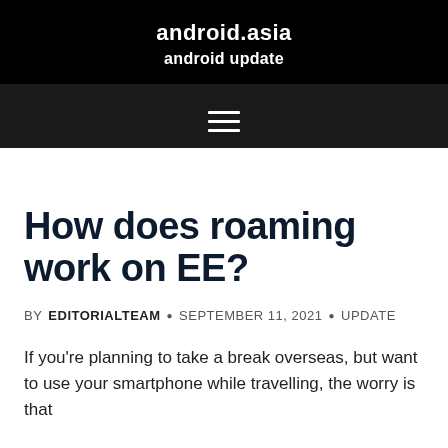android.asia
android update
How does roaming work on EE?
BY EDITORIALTEAM • SEPTEMBER 11, 2021 • UPDATE
If you're planning to take a break overseas, but want to use your smartphone while travelling, the worry is that